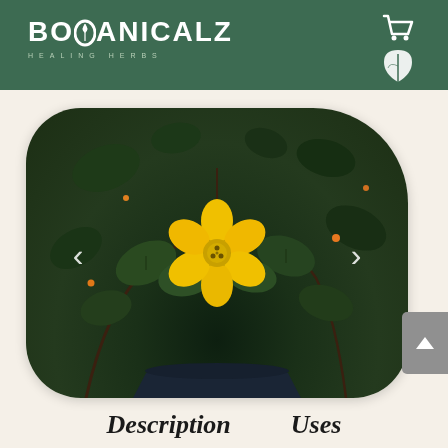BOTANICALZ HEALING HERBS
[Figure (photo): Close-up photo of a yellow flower with six petals surrounded by dark green leaves in a plant pot, shown in a rounded-corner image frame with left and right navigation arrows]
Description   Uses